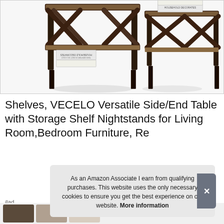[Figure (photo): Product photo showing two rustic industrial wooden end tables/nightstands with X-frame black metal legs and lower storage shelves, with decorative books placed on the shelves. White background product image.]
Shelves, VECELO Versatile Side/End Table with Storage Shelf Nightstands for Living Room,Bedroom Furniture, Re
As an Amazon Associate I earn from qualifying purchases. This website uses the only necessary cookies to ensure you get the best experience on our website. More information
#ad